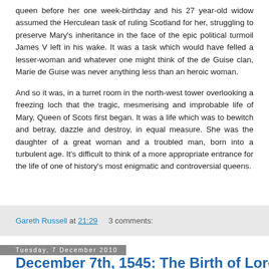queen before her one week-birthday and his 27 year-old widow assumed the Herculean task of ruling Scotland for her, struggling to preserve Mary's inheritance in the face of the epic political turmoil James V left in his wake. It was a task which would have felled a lesser-woman and whatever one might think of the de Guise clan, Marie de Guise was never anything less than an heroic woman.
And so it was, in a turret room in the north-west tower overlooking a freezing loch that the tragic, mesmerising and improbable life of Mary, Queen of Scots first began. It was a life which was to bewitch and betray, dazzle and destroy, in equal measure. She was the daughter of a great woman and a troubled man, born into a turbulent age. It's difficult to think of a more appropriate entrance for the life of one of history's most enigmatic and controversial queens.
Gareth Russell at 21:29    3 comments:
Tuesday, 7 December 2010
December 7th, 1545: The Birth of Lord